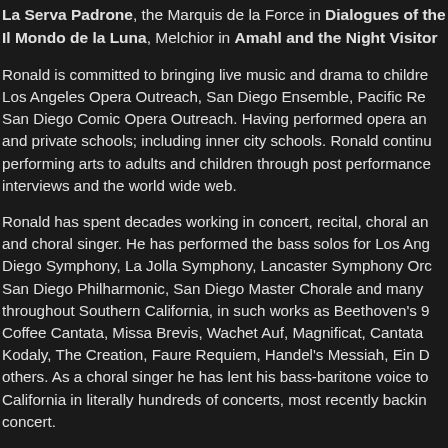La Serva Padrone, the Marquis de la Force in Dialogues of the Carmelites, Ubaldo in Il Mondo de la Luna, Melchior in Amahl and the Night Visitors
Ronald is committed to bringing live music and drama to children through Los Angeles Opera Outreach, San Diego Ensemble, Pacific Repertory Opera, and San Diego Comic Opera Outreach. Having performed opera and musical theater in public and private schools; including inner city schools. Ronald continues to bring the performing arts to adults and children through post performance discussion, newspaper interviews and the world wide web.
Ronald has spent decades working in concert, recital, choral and oratorio as soloist and choral singer. He has performed the bass solos for Los Angeles Symphony, San Diego Symphony, La Jolla Symphony, Lancaster Symphony Orchestra, San Diego Philharmonic, San Diego Master Chorale and many other orchestras throughout Southern California, in such works as Beethoven's 9th, Bach's Coffee Cantata, Missa Brevis, Wachet Auf, Magnificat, Cantata 82, Psalms of Kodaly, The Creation, Faure Requiem, Handel's Messiah, Ein Deutsches Requiem and others. As a choral singer he has lent his bass-baritone voice to orchestras in Southern California in literally hundreds of concerts, most recently backing Elton John in concert.
Ronald has performed the art songs of Vaughan-Williams, Schubert, Schumann and others in recital. Noted for his fine diction and authentic pronunciation, he has sung in English, Italian, French, German, Russian, Czech, Polish, Spanish, Hebrew, Latin, Thai and Japanese.